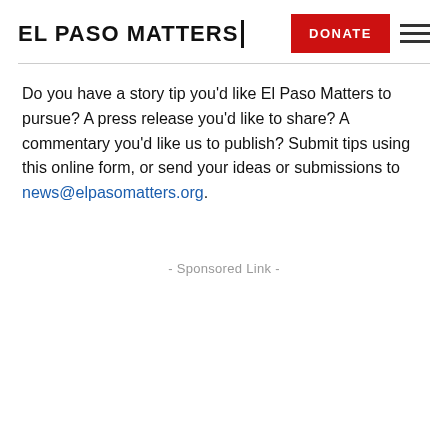EL PASO MATTERS
Do you have a story tip you'd like El Paso Matters to pursue? A press release you'd like to share? A commentary you'd like us to publish? Submit tips using this online form, or send your ideas or submissions to news@elpasomatters.org.
- Sponsored Link -